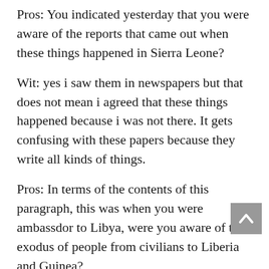Pros: You indicated yesterday that you were aware of the reports that came out when these things happened in Sierra Leone?
Wit: yes i saw them in newspapers but that does not mean i agreed that these things happened because i was not there. It gets confusing with these papers because they write all kinds of things.
Pros: In terms of the contents of this paragraph, this was when you were ambassdor to Libya, were you aware of the exodus of people from civilians to Liberia and Guinea?
Wit: I was not there but i heard of these.